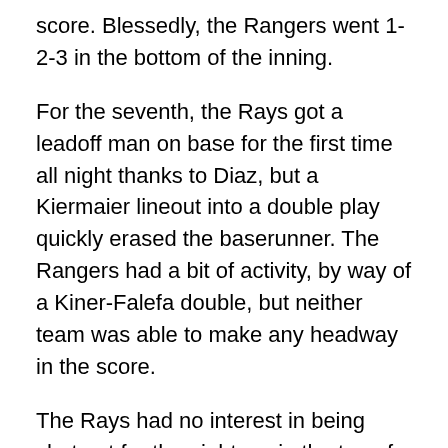score. Blessedly, the Rangers went 1-2-3 in the bottom of the inning.
For the seventh, the Rays got a leadoff man on base for the first time all night thanks to Diaz, but a Kiermaier lineout into a double play quickly erased the baserunner. The Rangers had a bit of activity, by way of a Kiner-Falefa double, but neither team was able to make any headway in the score.
The Rays had no interest in being shut out for the night, so in the top of the eighth, they shook off the Texas dust and scored some runs. A Mejia single kicked things off, and then Brandon Lowe hit a no-doubt home run, bringing the score to 5-2. The Rangers went 1-2-3 in the bottom of the inning, so it was down to the Rays in the top of the ninth to see if